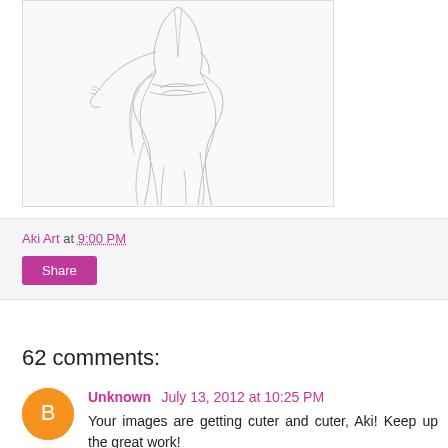[Figure (illustration): Pencil sketch of an anime-style character in flowing robes/dress, shown from the torso down, with arms slightly extended.]
Aki Art at 9:00 PM
Share
62 comments:
Unknown July 13, 2012 at 10:25 PM
Your images are getting cuter and cuter, Aki! Keep up the great work!